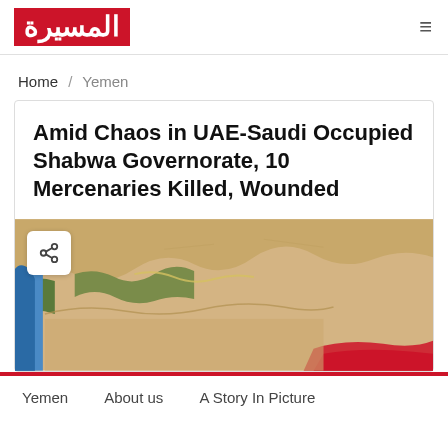المسيرة [logo] | hamburger menu
Home / Yemen
Amid Chaos in UAE-Saudi Occupied Shabwa Governorate, 10 Mercenaries Killed, Wounded
[Figure (map): Satellite/aerial map image of Yemen region showing desert terrain with blue sea area on left and red highlighted region at bottom right]
Yemen   About us   A Story In Picture